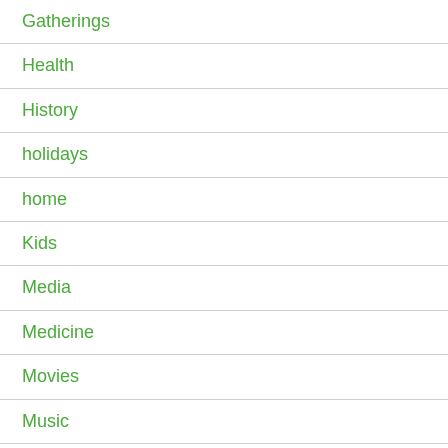Gatherings
Health
History
holidays
home
Kids
Media
Medicine
Movies
Music
Mysteries
Nature
News